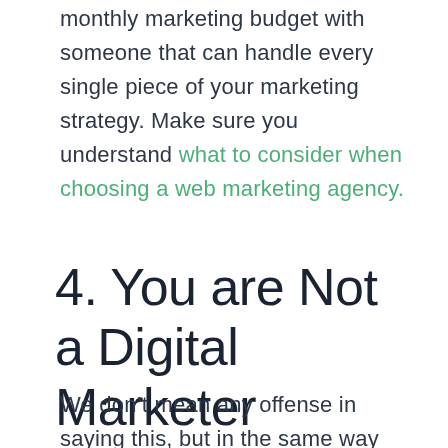monthly marketing budget with someone that can handle every single piece of your marketing strategy. Make sure you understand what to consider when choosing a web marketing agency.
4. You are Not a Digital Marketer
We don't mean any offense in saying this, but in the same way that you are